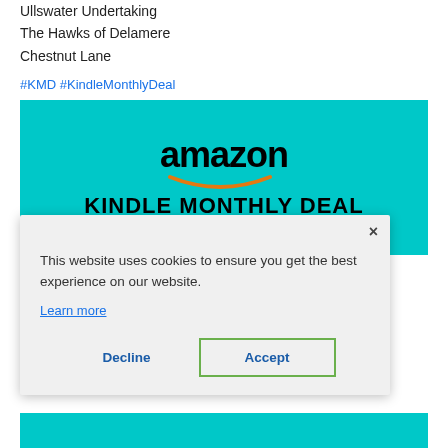Ullswater Undertaking
The Hawks of Delamere
Chestnut Lane
#KMD #KindleMonthlyDeal
[Figure (screenshot): Amazon Kindle Monthly Deal banner with teal/cyan background showing amazon logo with orange smile and 'KINDLE MONTHLY DEAL' text]
[Figure (screenshot): Cookie consent dialog overlay with text 'This website uses cookies to ensure you get the best experience on our website.' with Learn more link, Decline and Accept buttons]